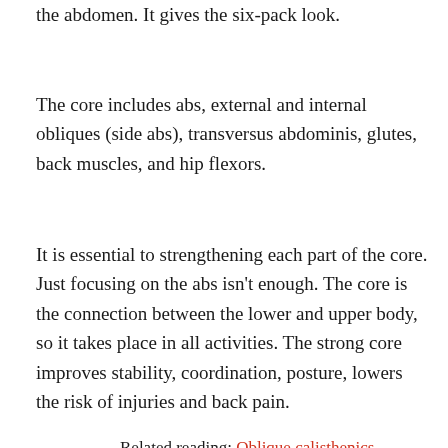The abs are the rectus abdominis, which is on the front of the abdomen. It gives the six-pack look.
The core includes abs, external and internal obliques (side abs), transversus abdominis, glutes, back muscles, and hip flexors.
It is essential to strengthening each part of the core. Just focusing on the abs isn't enough. The core is the connection between the lower and upper body, so it takes place in all activities. The strong core improves stability, coordination, posture, lowers the risk of injuries and back pain.
Related reading: Oblique calisthenics